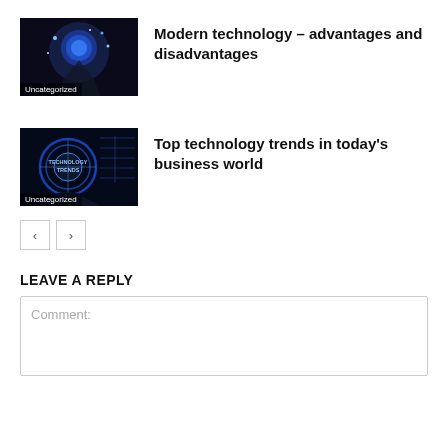[Figure (photo): Thumbnail image with hand holding glowing technology globe, dark background. Tag: Uncategorized]
Modern technology – advantages and disadvantages
[Figure (photo): Thumbnail image with blue technology trends circular graphic on dark background. Tag: Uncategorized]
Top technology trends in today's business world
< >
LEAVE A REPLY
Comment: